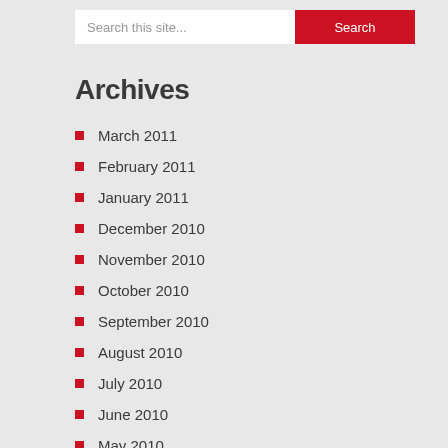Search this site...
Archives
March 2011
February 2011
January 2011
December 2010
November 2010
October 2010
September 2010
August 2010
July 2010
June 2010
May 2010